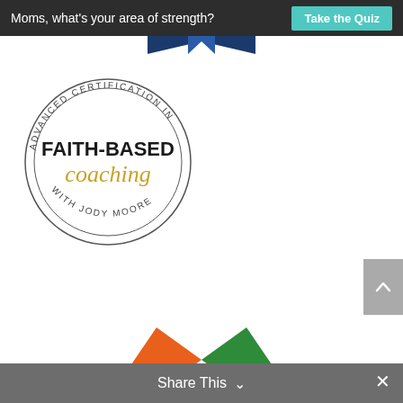Moms, what's your area of strength? Take the Quiz
[Figure (logo): Blue ribbon/badge top decoration partially visible]
[Figure (logo): Advanced Certification in Faith-Based Coaching with Jody Moore circular badge logo]
[Figure (logo): The Highlands Company logo banner with geometric pinwheel icon]
Share This ∨  ×